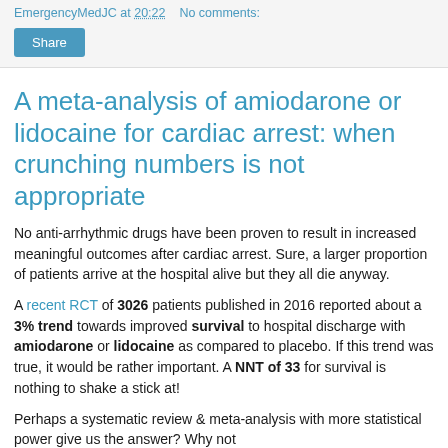EmergencyMedJC at 20:22   No comments:
A meta-analysis of amiodarone or lidocaine for cardiac arrest: when crunching numbers is not appropriate
No anti-arrhythmic drugs have been proven to result in increased meaningful outcomes after cardiac arrest. Sure, a larger proportion of patients arrive at the hospital alive but they all die anyway.
A recent RCT of 3026 patients published in 2016 reported about a 3% trend towards improved survival to hospital discharge with amiodarone or lidocaine as compared to placebo. If this trend was true, it would be rather important. A NNT of 33 for survival is nothing to shake a stick at!
Perhaps a systematic review & meta-analysis with more statistical power give us the answer? Why not